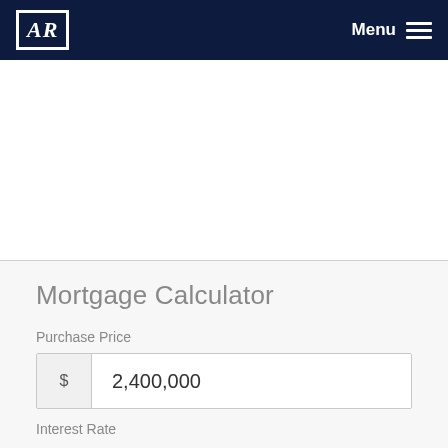AR | Menu
Mortgage Calculator
Purchase Price
$ 2,400,000
Interest Rate